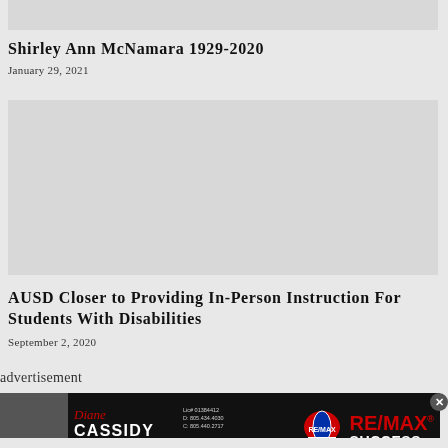[Figure (photo): Gray placeholder image at top of page]
Shirley Ann McNamara 1929-2020
January 29, 2021
[Figure (photo): Large gray placeholder image for article]
AUSD Closer to Providing In-Person Instruction For Students With Disabilities
September 2, 2020
advertisement
[Figure (photo): RE/MAX advertisement banner featuring Diane Cassidy, Realtor. Contact info and RE/MAX Success logo.]